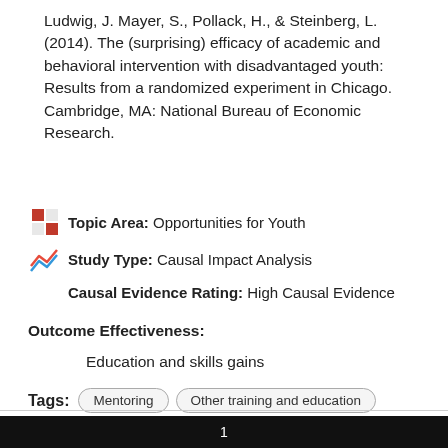Ludwig, J. Mayer, S., Pollack, H., & Steinberg, L. (2014). The (surprising) efficacy of academic and behavioral intervention with disadvantaged youth: Results from a randomized experiment in Chicago. Cambridge, MA: National Bureau of Economic Research.
Topic Area: Opportunities for Youth
Study Type: Causal Impact Analysis
Causal Evidence Rating: High Causal Evidence
Outcome Effectiveness:
Education and skills gains
Tags: Mentoring | Other training and education | Youth programs | Behavioral Interventions
1